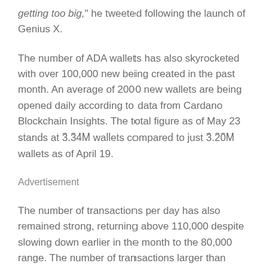getting too big," he tweeted following the launch of Genius X.
The number of ADA wallets has also skyrocketed with over 100,000 new being created in the past month. An average of 2000 new wallets are being opened daily according to data from Cardano Blockchain Insights. The total figure as of May 23 stands at 3.34M wallets compared to just 3.20M wallets as of April 19.
Advertisement &nbsp &nbsp
The number of transactions per day has also remained strong, returning above 110,000 despite slowing down earlier in the month to the 80,000 range. The number of transactions larger than $100,000 has also surged since the first quarter of 2022 signaling strong institutional demand. Last week, Cardano whale transactions tapped a